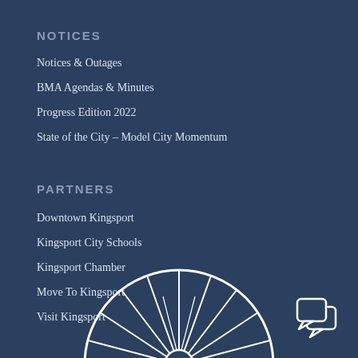NOTICES
Notices & Outages
BMA Agendas & Minutes
Progress Edition 2022
State of the City – Model City Momentum
PARTNERS
Downtown Kingsport
Kingsport City Schools
Kingsport Chamber
Move To Kingsport
Visit Kingsport
[Figure (illustration): Partial circular wheel/spoke decorative graphic at bottom center, white on dark blue background. Chat bubble icon at bottom right.]